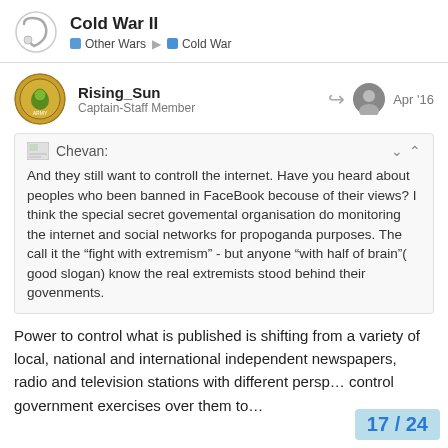Cold War II | Other Wars > Cold War
Rising_Sun
Captain-Staff Member
Apr '16
Chevan:
And they still want to controll the internet. Have you heard about peoples who been banned in FaceBook becouse of their views? I think the special secret govemental organisation do monitoring the internet and social networks for propoganda purposes. The call it the “fight with extremism” - but anyone “with half of brain”( good slogan) know the real extremists stood behind their govenments.
Power to control what is published is shifting from a variety of local, national and international independent newspapers, radio and television stations with different persp... control government exercises over them to...
17 / 24